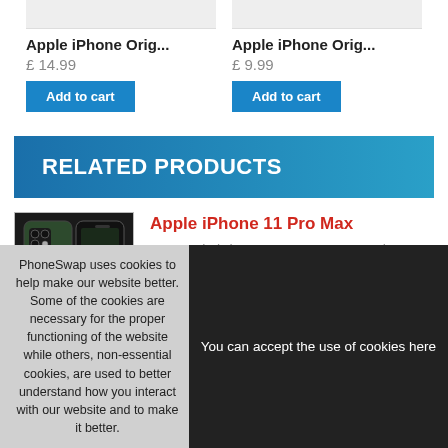Apple iPhone Orig...
£ 14.99
Add to cart
Apple iPhone Orig...
£ 9.99
Add to cart
RELATED PRODUCTS
[Figure (photo): Apple iPhone 11 Pro Max product photo showing front and back of dark green/midnight green smartphone]
Apple iPhone 11 Pro Max
Buy Apple iPhone 11 Pro Max smartphone. Features 6.5" Super AMOLED display, Apple A13...
£ 599.99
PhoneSwap uses cookies to help make our website better. Some of the cookies are necessary for the proper functioning of the website while others, non-essential cookies, are used to better understand how you interact with our website and to make it better.
You can accept the use of cookies here